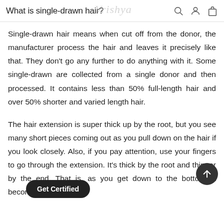What is single-drawn hair?
Single-drawn hair means when cut off from the donor, the manufacturer process the hair and leaves it precisely like that. They don't go any further to do anything with it. Some single-drawn are collected from a single donor and then processed. It contains less than 50% full-length hair and over 50% shorter and varied length hair.
The hair extension is super thick up by the root, but you see many short pieces coming out as you pull down on the hair if you look closely. Also, if you pay attention, use your fingers to go through the extension. It's thick by the root and thinner by the end. That is, as you get down to the bottom, it becomes thin.